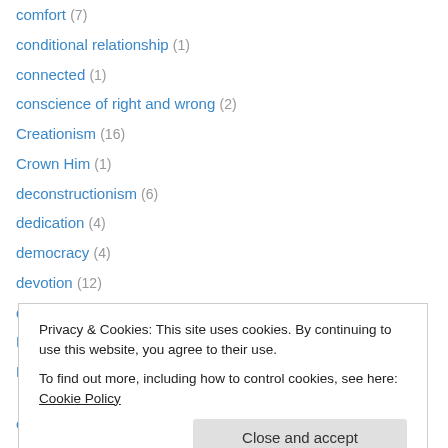comfort (7)
conditional relationship (1)
connected (1)
conscience of right and wrong (2)
Creationism (16)
Crown Him (1)
deconstructionism (6)
dedication (4)
democracy (4)
devotion (12)
did not our hearts burn within us (1)
Discipleship (1)
DNA (8)
Privacy & Cookies: This site uses cookies. By continuing to use this website, you agree to their use. To find out more, including how to control cookies, see here: Cookie Policy
eternal assurance (1)